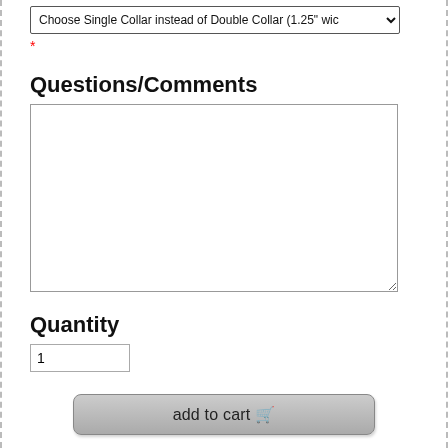Choose Single Collar instead of Double Collar (1.25" wic
*
Questions/Comments
(textarea input field)
Quantity
1
add to cart 🛒
add to wishlist
Don't forget your accessories for your new collars and